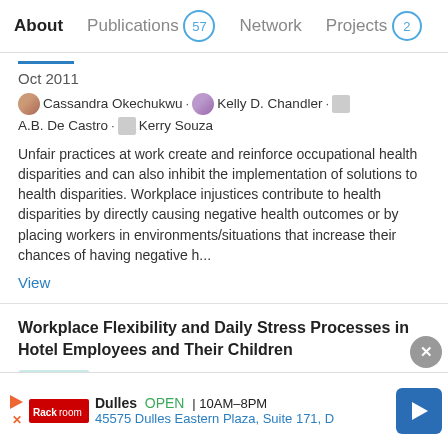About  Publications 57  Network  Projects 2
Oct 2011
Cassandra Okechukwu · Kelly D. Chandler · A.B. De Castro · Kerry Souza
Unfair practices at work create and reinforce occupational health disparities and can also inhibit the implementation of solutions to health disparities. Workplace injustices contribute to health disparities by directly causing negative health outcomes or by placing workers in environments/situations that increase their chances of having negative h...
View
Workplace Flexibility and Daily Stress Processes in Hotel Employees and Their Children
Article
Oct 2011
Advertisement
Dulles  OPEN  10AM–8PM
45575 Dulles Eastern Plaza, Suite 171, D